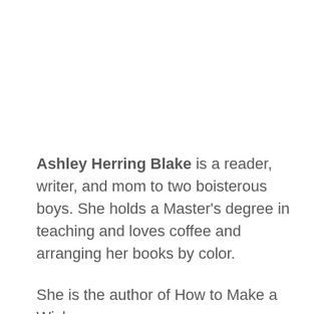Ashley Herring Blake is a reader, writer, and mom to two boisterous boys. She holds a Master's degree in teaching and loves coffee and arranging her books by color.
She is the author of How to Make a Wish